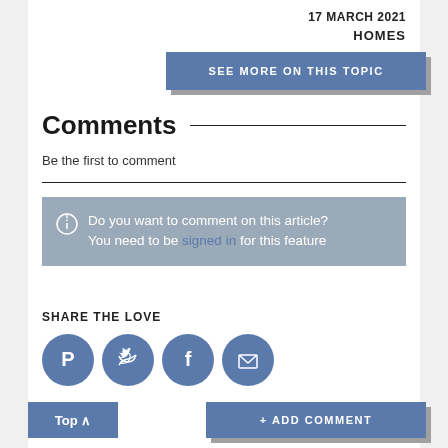17 MARCH 2021
HOMES
SEE MORE ON THIS TOPIC
Comments
Be the first to comment
Do you want to comment on this article? You need to be signed in for this feature
SHARE THE LOVE
[Figure (infographic): Four circular social share buttons: Pinterest, Twitter, Facebook, Email]
Top ^
+ ADD COMMENT